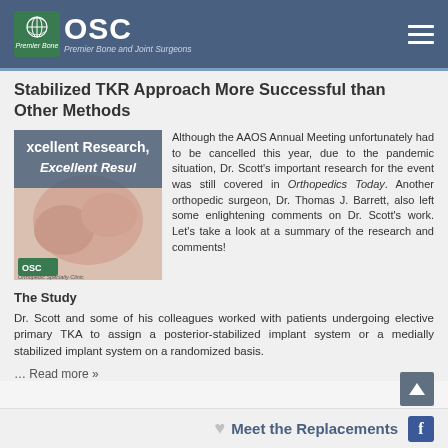OSC Premier Bone and Joint Surgeons
Stabilized TKR Approach More Successful than Other Methods
[Figure (photo): Medical image with text overlay reading 'xcellent Research, Excellent Results' with OSC logo, showing a doctor examining a patient's knee]
Although the AAOS Annual Meeting unfortunately had to be cancelled this year, due to the pandemic situation, Dr. Scott's important research for the event was still covered in Orthopedics Today. Another orthopedic surgeon, Dr. Thomas J. Barrett, also left some enlightening comments on Dr. Scott's work. Let's take a look at a summary of the research and comments!
The Study
Dr. Scott and some of his colleagues worked with patients undergoing elective primary TKA to assign a posterior-stabilized implant system or a medially stabilized implant system on a randomized basis.
… Read more »
Meet the Replacements